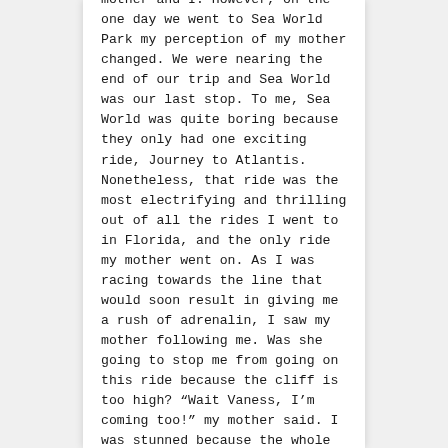mother and I. However, on the one day we went to Sea World Park my perception of my mother changed. We were nearing the end of our trip and Sea World was our last stop. To me, Sea World was quite boring because they only had one exciting ride, Journey to Atlantis. Nonetheless, that ride was the most electrifying and thrilling out of all the rides I went to in Florida, and the only ride my mother went on. As I was racing towards the line that would soon result in giving me a rush of adrenalin, I saw my mother following me. Was she going to stop me from going on this ride because the cliff is too high? “Wait Vaness, I’m coming too!” my mother said. I was stunned because the whole time I expected she wouldn’t go on any ride. With a confused looked I asked, “I thought you didn’t like roller coasters or scary rides?” “I haven’t gone on any rides because your dad always wants to go on with you. Also, I have to watch our bags.